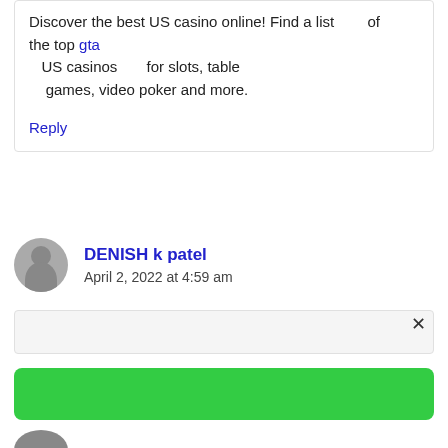Discover the best US casino online! Find a list of the top gta US casinos for slots, table games, video poker and more.
Reply
DENISH k patel
April 2, 2022 at 4:59 am